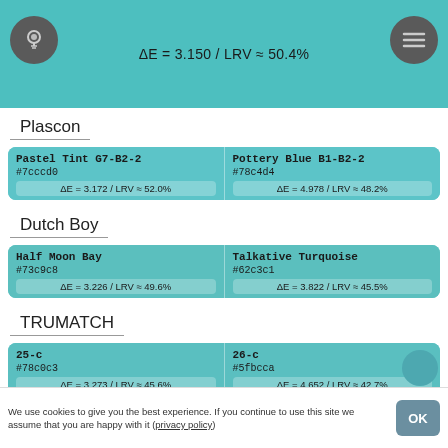ΔE = 3.150 / LRV ≈ 50.4%
Plascon
| Color 1 | Color 2 |
| --- | --- |
| Pastel Tint G7-B2-2
#7cccd0
ΔE = 3.172 / LRV ≈ 52.0% | Pottery Blue B1-B2-2
#78c4d4
ΔE = 4.978 / LRV ≈ 48.2% |
Dutch Boy
| Color 1 | Color 2 |
| --- | --- |
| Half Moon Bay
#73c9c8
ΔE = 3.226 / LRV ≈ 49.6% | Talkative Turquoise
#62c3c1
ΔE = 3.822 / LRV ≈ 45.5% |
TRUMATCH
| Color 1 | Color 2 |
| --- | --- |
| 25-c
#78c0c3
ΔE = 3.273 / LRV ≈ 45.6% | 26-c
#5fbcca
ΔE = 4.652 / LRV ≈ 42.7% |
Earthborn
We use cookies to give you the best experience. If you continue to use this site we assume that you are happy with it (privacy policy)